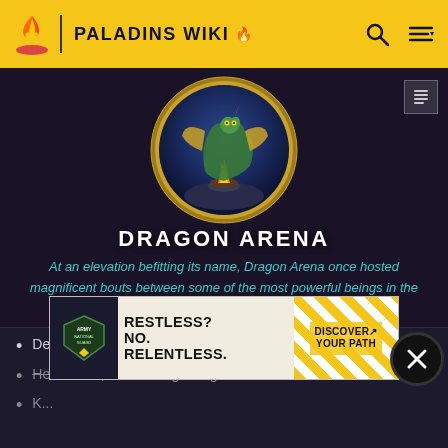PALADINS WIKI
[Figure (illustration): Dragon Arena circular emblem with a golden dragon and fire, gold border, on a dark blue background]
DRAGON ARENA
At an elevation befitting its name, Dragon Arena once hosted magnificent bouts between some of the most powerful beings in the Realm for sport. Now, fights there are for a different purpose.
Deal a total of 10,000 damage with Tempest (Grohk)
Heal for 50,000 with Lightning Staff in one match (Grohk) [strikethrough]
K... [partially obscured]
Play 3 matches as Grohk
Use Healing Totem 25 times (Grohk)
[Figure (photo): Army National Guard advertisement banner: RESTLESS? NO. RELENTLESS. DISCOVER YOUR PATH]
[Figure (other): Close/X button overlay circle on the right side]